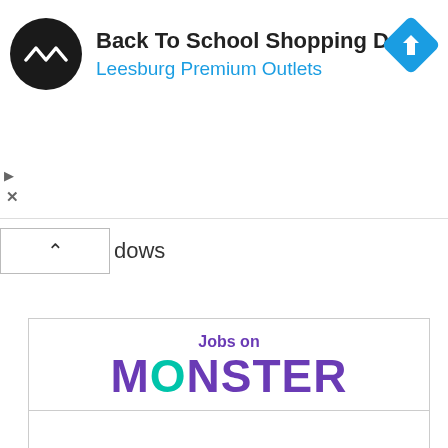[Figure (logo): Advertisement banner: black circular logo with white double arrow icon, text 'Back To School Shopping Deals' in bold, 'Leesburg Premium Outlets' in blue, blue diamond navigation icon on right]
dows
[Figure (logo): Jobs on Monster logo — 'Jobs on' in purple, MONSTER in large letters with O in teal and remaining letters in purple]
Inside Sales Rep
USHA, Des Moines, IA
Assistant General Counsel
Infineon Technologies Ame..., San Jose, CA
Java Developer
DNS Technologies, Inc., Phoenix, AZ